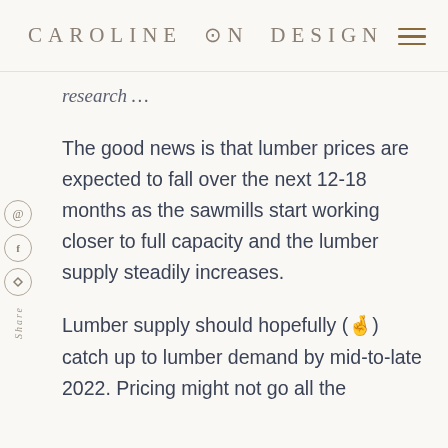CAROLINE ON DESIGN
research …
The good news is that lumber prices are expected to fall over the next 12-18 months as the sawmills start working closer to full capacity and the lumber supply steadily increases.
Lumber supply should hopefully (🤞) catch up to lumber demand by mid-to-late 2022. Pricing might not go all the